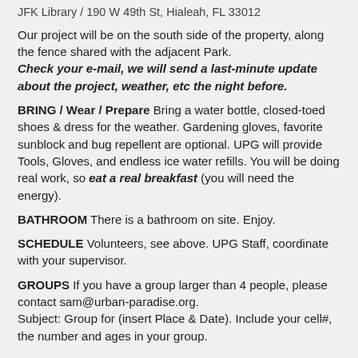JFK Library / 190 W 49th St, Hialeah, FL 33012
Our project will be on the south side of the property, along the fence shared with the adjacent Park. Check your e-mail, we will send a last-minute update about the project, weather, etc the night before.
BRING / Wear / Prepare Bring a water bottle, closed-toed shoes & dress for the weather. Gardening gloves, favorite sunblock and bug repellent are optional. UPG will provide Tools, Gloves, and endless ice water refills. You will be doing real work, so eat a real breakfast (you will need the energy).
BATHROOM There is a bathroom on site. Enjoy.
SCHEDULE Volunteers, see above. UPG Staff, coordinate with your supervisor.
GROUPS If you have a group larger than 4 people, please contact sam@urban-paradise.org. Subject: Group for (insert Place & Date). Include your cell#, the number and ages in your group.